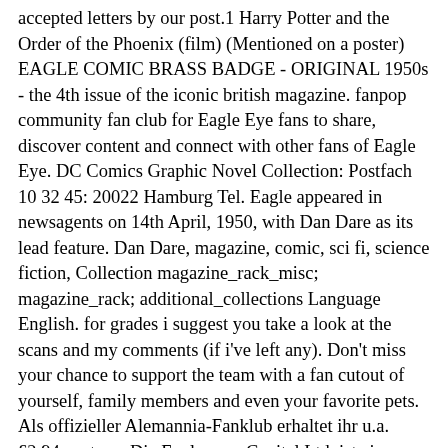accepted letters by our post.1 Harry Potter and the Order of the Phoenix (film) (Mentioned on a poster) EAGLE COMIC BRASS BADGE - ORIGINAL 1950s - the 4th issue of the iconic british magazine. fanpop community fan club for Eagle Eye fans to share, discover content and connect with other fans of Eagle Eye. DC Comics Graphic Novel Collection: Postfach 10 32 45: 20022 Hamburg Tel. Eagle appeared in newsagents on 14th April, 1950, with Dan Dare as its lead feature. Dan Dare, magazine, comic, sci fi, science fiction, Collection magazine_rack_misc; magazine_rack; additional_collections Language English. for grades i suggest you take a look at the scans and my comments (if i've left any). Don't miss your chance to support the team with a fan cutout of yourself, family members and even your favorite pets. Als offizieller Alemannia-Fanklub erhaltet ihr u.a. £2.94 postage. Die Eaglemoss Capital Ltd. ist eine Holdinggesellschaft privater Investoren mit BÃ¼ros in London und Paris. £24.00. Philadelphia Eagles Kids Club Share the experience of Eagles Football with the young fans in your life. This video is unavailable. Adam. Within days of being launched, the comic, which consisted of 20 pages, 8 of which were in full stunning colour, was selling nearly 1 million copies per week. 0 bids. [2] or Best Offer. (1984), Tiger (1985), Battle (1988), Mask (1988) and Wildcat (1989), and was cancelled in January 1994. The unofficial Philadelphia Eagles fan club for everything Eagles! Contents[show] History The comic was conceived as a wholesome counterpoint to imported American comics, which creator Reverend Marcus Morris had railed against